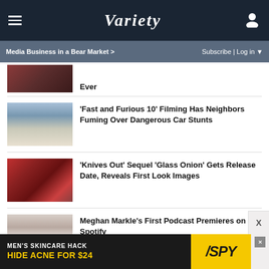Variety
Media Business in a Bear Market > | Subscribe | Log in
[Figure (photo): Partial thumbnail of a dark reddish-brown scene]
Ever
[Figure (photo): Street scene with telephone poles and buildings]
'Fast and Furious 10' Filming Has Neighbors Fuming Over Dangerous Car Stunts
[Figure (photo): Crowded interior scene with red decorations]
'Knives Out' Sequel 'Glass Onion' Gets Release Date, Reveals First Look Images
[Figure (photo): Woman in white hat and suit]
Meghan Markle's First Podcast Premieres on Spotify
[Figure (advertisement): MEN'S SKINCARE HACK - HIDE ACNE FOR $24 - SPY ad banner]